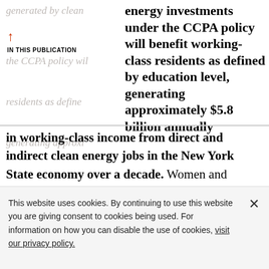generated by clean energy investments under the CCPA policy will benefit working-class residents as defined by education level, generating approximately $5.8 billion annually in working-class income from direct and indirect clean energy jobs in the New York State economy over a decade. Women and people of color, however, are not proportionately represented.
IN THIS PUBLICATION
This website uses cookies. By continuing to use this website you are giving consent to cookies being used. For information on how you can disable the use of cookies, visit our privacy policy.